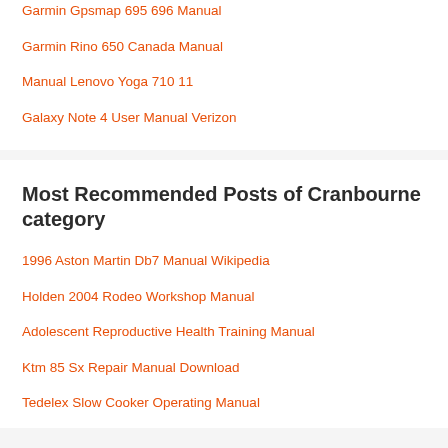Garmin Gpsmap 695 696 Manual
Garmin Rino 650 Canada Manual
Manual Lenovo Yoga 710 11
Galaxy Note 4 User Manual Verizon
Most Recommended Posts of Cranbourne category
1996 Aston Martin Db7 Manual Wikipedia
Holden 2004 Rodeo Workshop Manual
Adolescent Reproductive Health Training Manual
Ktm 85 Sx Repair Manual Download
Tedelex Slow Cooker Operating Manual